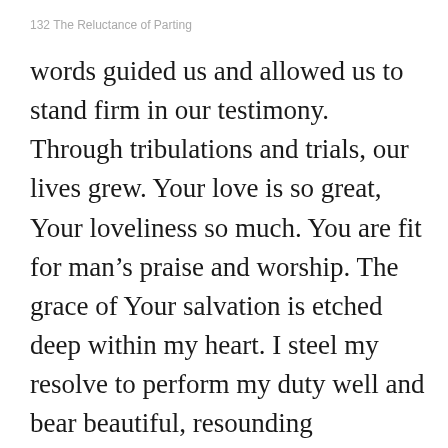132 The Reluctance of Parting
words guided us and allowed us to stand firm in our testimony. Through tribulations and trials, our lives grew. Your love is so great, Your loveliness so much. You are fit for man’s praise and worship. The grace of Your salvation is etched deep within my heart. I steel my resolve to perform my duty well and bear beautiful, resounding testimony. Your love shall forever remain in my heart; always will I love and cherish You.